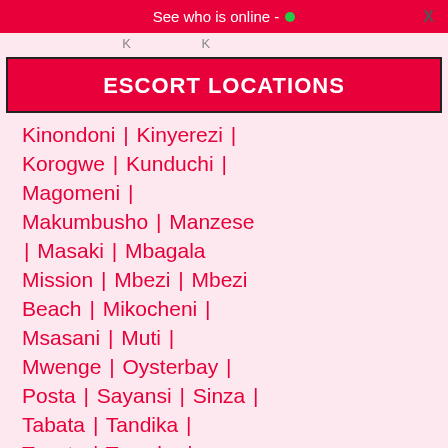See who is online - •   X
Kinondoni | Kinyerezi | Korogwe | Kunduchi | Magomeni | Makumbusho | Manzese | Masaki | Mbagala Mission | Mbezi | Mbezi Beach | Mikocheni | Msasani | Muti Mwenge | Oysterbay | Posta | Sayansi | Sinza | Tabata | Tandika | Tegeta | Temeke | Ubungo | Ukonga | Ungindoni Kigamboni | Ununio | Upanga | Upanga City Center |